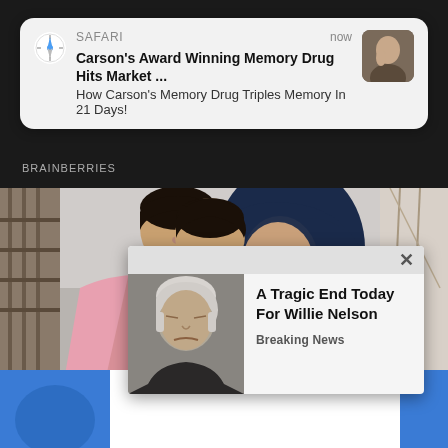[Figure (screenshot): Safari browser notification banner showing 'Carson's Award Winning Memory Drug Hits Market ...' and 'How Carson's Memory Drug Triples Memory In 21 Days!']
BRAINBERRIES
[Figure (photo): A couple outdoors; a man in a pink shirt kissing a woman wearing a dark navy hijab on her cheek, she is smiling with eyes closed]
Whic... Worl...
BRAIN...
[Figure (screenshot): Popup ad with close X button showing an elderly man (Willie Nelson) and text 'A Tragic End Today For Willie Nelson' and 'Breaking News']